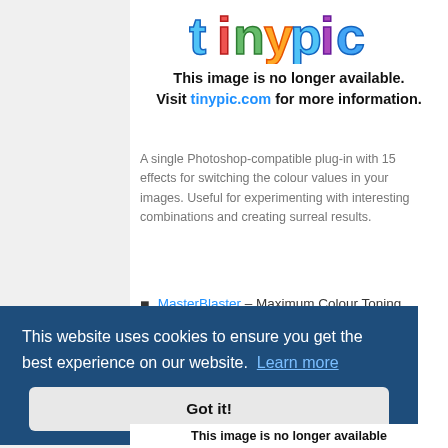[Figure (screenshot): Tinypic logo - colorful text logo with the word tinypic in blue and green letters]
This image is no longer available. Visit tinypic.com for more information.
A single Photoshop-compatible plug-in with 15 effects for switching the colour values in your images. Useful for experimenting with interesting combinations and creating surreal results.
MasterBlaster – Maximum Colour Toning
[Figure (illustration): Yellow emoji/mascot face with worried expression, orange arms visible at bottom]
This website uses cookies to ensure you get the best experience on our website. Learn more
Got it!
This image is no longer available